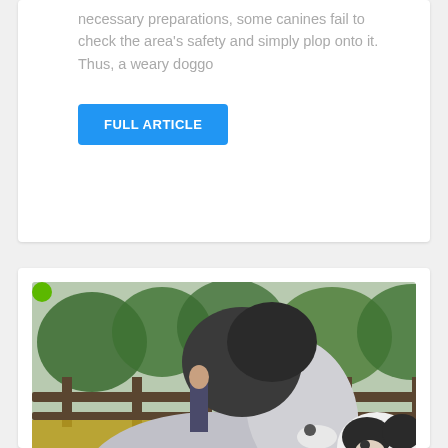necessary preparations, some canines fail to check the area's safety and simply plop onto it. Thus, a weary doggo
FULL ARTICLE
[Figure (photo): A miniature horse and a black-and-white dog touching noses in an outdoor field setting with green trees and a wooden fence in the background.]
The Precious Friendship Between A Miniature Therapy Horse And A